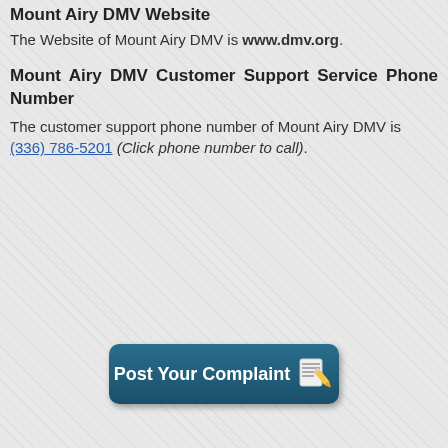Mount Airy DMV Website
The Website of Mount Airy DMV is www.dmv.org.
Mount Airy DMV Customer Support Service Phone Number
The customer support phone number of Mount Airy DMV is (336) 786-5201 (Click phone number to call).
[Figure (other): Post Your Complaint button with notepad and pencil icon]